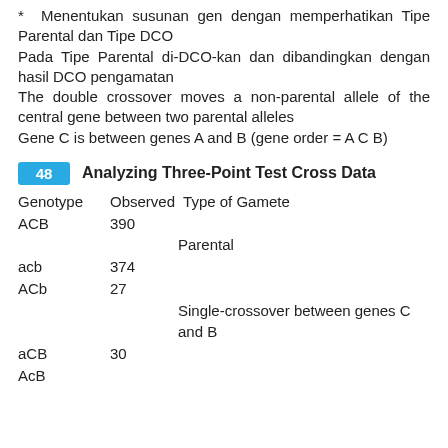* Menentukan susunan gen dengan memperhatikan Tipe Parental dan Tipe DCO
Pada Tipe Parental di-DCO-kan dan dibandingkan dengan hasil DCO pengamatan
The double crossover moves a non-parental allele of the central gene between two parental alleles
Gene C is between genes A and B (gene order = A C B)
48  Analyzing Three-Point Test Cross Data
Genotype
Observed
Type of Gamete
ACB
390
Parental
acb
374
ACb
27
Single-crossover between genes C and B
aCB
30
AcB